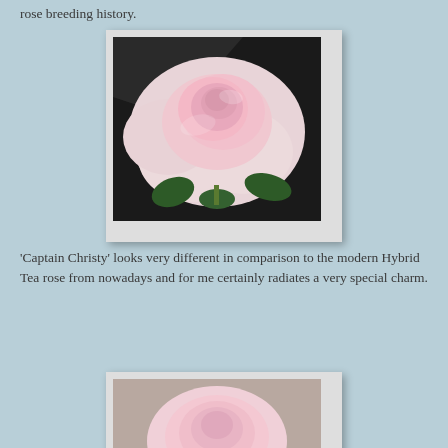rose breeding history.
[Figure (photo): Close-up photograph of a pale pink rose bloom with green leaves against a dark background, displayed in a white photo frame with shadow.]
'Captain Christy' looks very different in comparison to the modern Hybrid Tea rose from nowadays and for me certainly radiates a very special charm.
[Figure (photo): Photograph of a light pink rose bloom, partially visible, against a blurred beige/grey background, displayed in a white photo frame.]